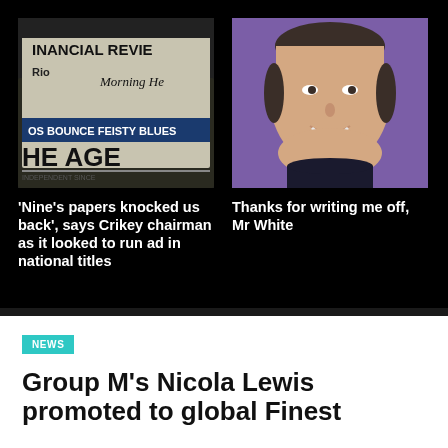[Figure (photo): Stack of newspapers including Financial Review, The Age, and Morning Herald on a dark background]
'Nine's papers knocked us back', says Crikey chairman as it looked to run ad in national titles
[Figure (photo): Headshot of a smiling man with dark hair against a purple background]
Thanks for writing me off, Mr White
NEWS
Group M's Nicola Lewis promoted to global Finest